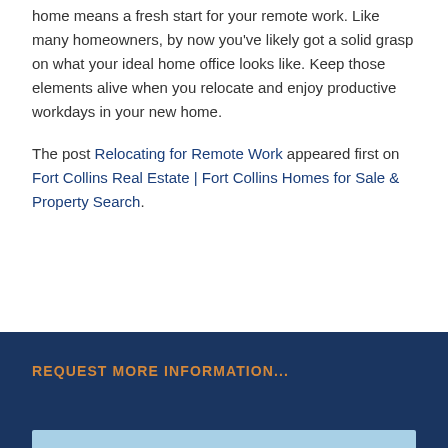home means a fresh start for your remote work. Like many homeowners, by now you've likely got a solid grasp on what your ideal home office looks like. Keep those elements alive when you relocate and enjoy productive workdays in your new home.
The post Relocating for Remote Work appeared first on Fort Collins Real Estate | Fort Collins Homes for Sale & Property Search.
REQUEST MORE INFORMATION...